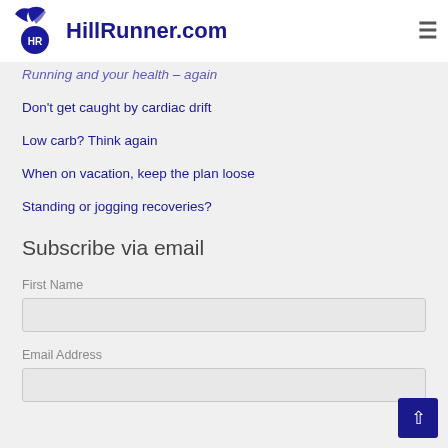HillRunner.com
Running and your health – again
Don't get caught by cardiac drift
Low carb? Think again
When on vacation, keep the plan loose
Standing or jogging recoveries?
Subscribe via email
First Name
Email Address